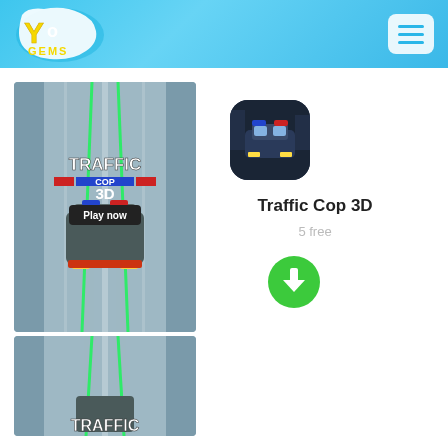[Figure (logo): YoGems logo with yellow Y, white o, blue swoosh and 'GEMS' text in yellow, on light blue gradient header background]
[Figure (screenshot): Traffic Cop 3D game screenshot showing aerial view of road with police car and 'Play now' button, green laser beams, game title text]
[Figure (screenshot): Second Traffic Cop 3D game screenshot showing similar aerial road view, partially cropped at bottom]
[Figure (illustration): Traffic Cop 3D app icon: police car with flashing lights on dark background with rounded corners]
Traffic Cop 3D
5 free
[Figure (other): Green circular download button with white downward arrow]